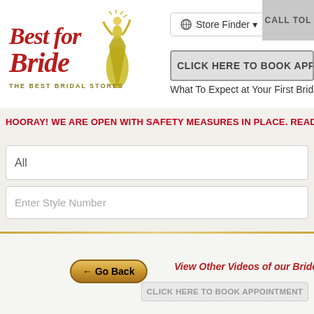[Figure (logo): Best for Bride logo with script text and bride figure illustration, tagline THE BEST BRIDAL STORES]
Store Finder ▾
CALL TOL
CLICK HERE TO BOOK APPOI
What To Expect at Your First Bridal
HOORAY! WE ARE OPEN WITH SAFETY MEASURES IN PLACE. READ MOR
All
Enter Style Number
← Go Back
View Other Videos of our Brides
CLICK HERE TO BOOK APPOINTMENT